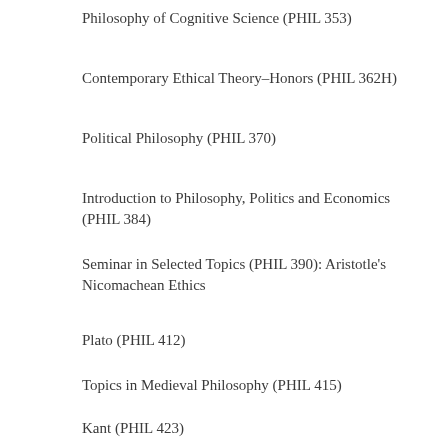Philosophy of Cognitive Science (PHIL 353)
Contemporary Ethical Theory–Honors (PHIL 362H)
Political Philosophy (PHIL 370)
Introduction to Philosophy, Politics and Economics (PHIL 384)
Seminar in Selected Topics (PHIL 390): Aristotle's Nicomachean Ethics
Plato (PHIL 412)
Topics in Medieval Philosophy (PHIL 415)
Kant (PHIL 423)
Courses for Honors (PHIL 691H)
Courses for Honors (PHIL 692H)
Philosophy of Law (PHIL 480)